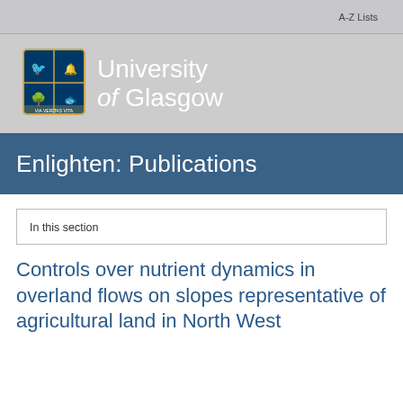A-Z Lists
[Figure (logo): University of Glasgow shield logo and text]
Enlighten: Publications
In this section
Controls over nutrient dynamics in overland flows on slopes representative of agricultural land in North West